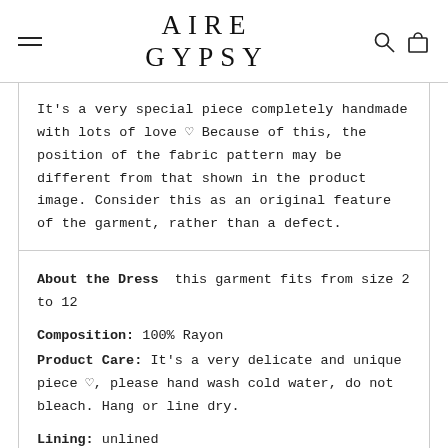AIRE GYPSY
It's a very special piece completely handmade with lots of love ♡ Because of this, the position of the fabric pattern may be different from that shown in the product image. Consider this as an original feature of the garment, rather than a defect.
About the Dress  this garment fits from size 2 to 12
Composition: 100% Rayon
Product Care: It's a very delicate and unique piece ♡, please hand wash cold water, do not bleach. Hang or line dry.
Lining: unlined